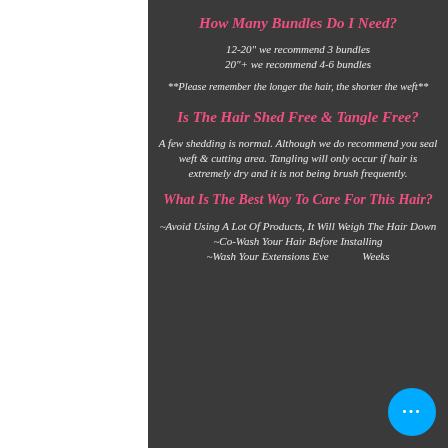How Many Bundles Do I Need?
12-20" we recommend 3 bundles
20"+ we recommend 4-6 bundles
**Please remember the longer the hair, the shorter the weft**
Is The Hair Shed Free & Tangle Free?
A few shedding is normal. Although we do recommend you seal weft & cutting area. Tangling will only occur if hair is extremely dry and it is not being brush frequently.
What Is The Best Way To Care For This Hair?
~Avoid Using A Lot Of Products, It Will Weigh The Hair Down
~Co-Wash Your Hair Before Installing
~Wash Your Extensions Eve... Weeks